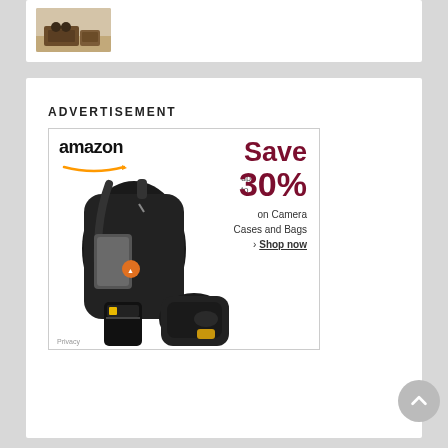[Figure (photo): Partial view of a room with furniture (ottoman/coffee table set) visible in top card]
ADVERTISEMENT
[Figure (photo): Amazon advertisement banner: Save up to 30% on Camera Cases and Bags. Shows camera backpacks, sling bags, and accessories. Amazon logo top left. Shop now link. Privacy label bottom left.]